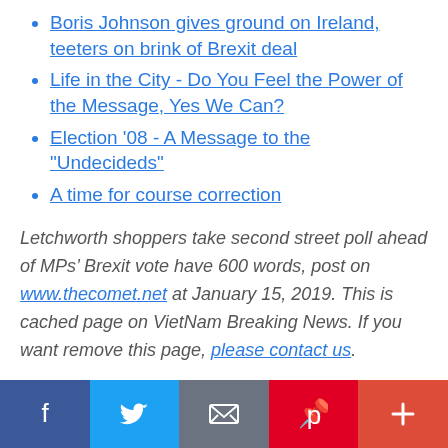Boris Johnson gives ground on Ireland, teeters on brink of Brexit deal
Life in the City - Do You Feel the Power of the Message, Yes We Can?
Election '08 - A Message to the "Undecideds"
A time for course correction
Letchworth shoppers take second street poll ahead of MPs’ Brexit vote have 600 words, post on www.thecomet.net at January 15, 2019. This is cached page on VietNam Breaking News. If you want remove this page, please contact us.